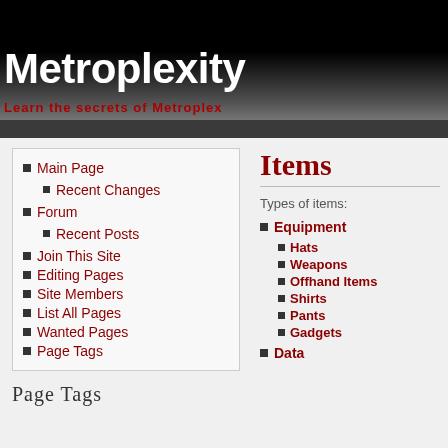Metroplexity
Learn the secrets of Metroplex
Main Page
Recent Changes
Forum
Recent Posts
Join This Site
Editing Pages
Site Members
List All Pages
Wanted Pages
Page Tags
Page Tags
Items
Types of items:
Equipment
Hats
Weapons
Offhand Items
Shirts
Pants
Gadgets
Data